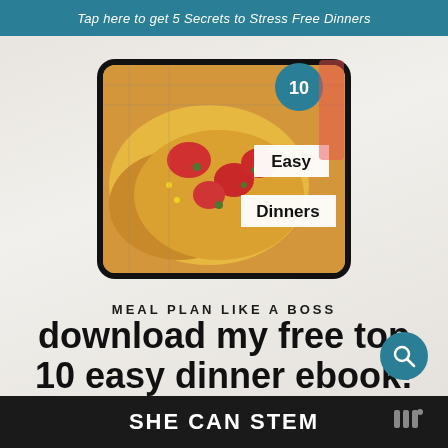Tap here to get 5 Secrets to Stress Free Dinners
[Figure (photo): Tablet device showing a Mexican pizza/flatbread dish with cheese, tomatoes, and herbs. The tablet screen shows overlaid text labels: '10' in a circle, 'Easy', and 'Dinners'.]
MEAL PLAN LIKE A BOSS
download my free top 10 easy dinner ebook!
SHE CAN STEM